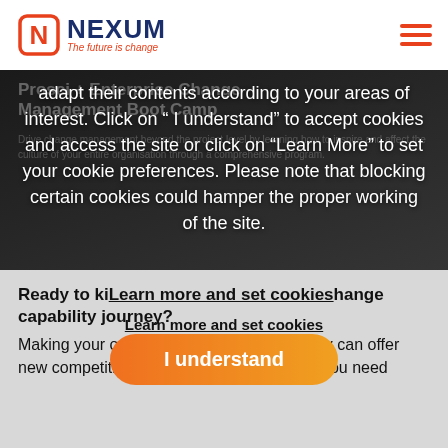[Figure (logo): Nexum logo with N icon in red/orange, company name in dark navy bold, tagline 'The future is change' in orange italic]
[Figure (illustration): Hamburger menu icon (three orange horizontal lines) in top right corner]
Prosci + Enterprise Change Management Boot Camp
Drive change management beyond the project level by learning how to inspire and affect the culture of your entire organisation through a comprehensive program.
adapt their contents according to your areas of interest. Click on " I understand" to accept cookies and access the site or click on "Learn More" to set your cookie preferences. Please note that blocking certain cookies could hamper the proper working of the site.
Learn more and set cookies
I understand
Ready to kick start your change capability journey?
Making your organisation truly change ready can offer new competitive advantages. To get there, you need